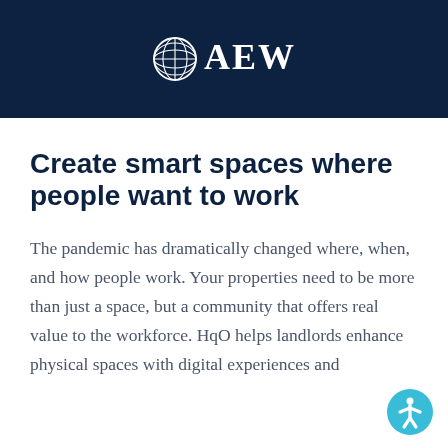AEW
Create smart spaces where people want to work
The pandemic has dramatically changed where, when, and how people work. Your properties need to be more than just a space, but a community that offers real value to the workforce. HqO helps landlords enhance physical spaces with digital experiences and